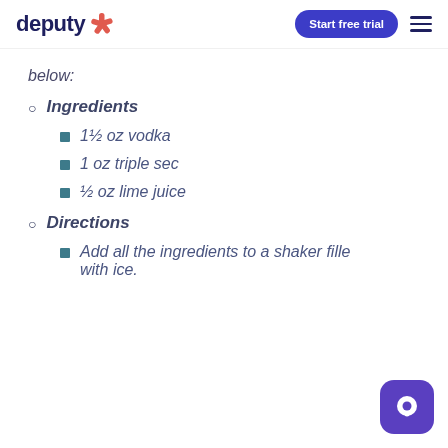deputy [logo] | Start free trial [button] | menu
below:
Ingredients
1½ oz vodka
1 oz triple sec
½ oz lime juice
Directions
Add all the ingredients to a shaker filled with ice.